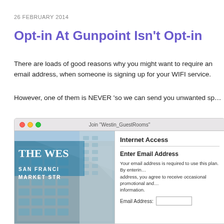26 FEBRUARY 2014
Opt-in At Gunpoint Isn't Opt-in
There are loads of good reasons why you might want to require an email address, when someone is signing up for your WIFI service.
However, one of them is NEVER 'so we can send you unwanted sp…
[Figure (screenshot): Screenshot of a Mac browser window showing the Westin hotel WIFI login page. The window chrome shows 'Join "Westin_GuestRooms"' in the title bar. The left side shows The Westin San Francisco Market Street hotel building photo. The right side shows an 'Internet Access' dialog with an 'Enter Email Address' section explaining that email is required to use the plan and agreeing to receive promotional information, with an Email Address input field.]